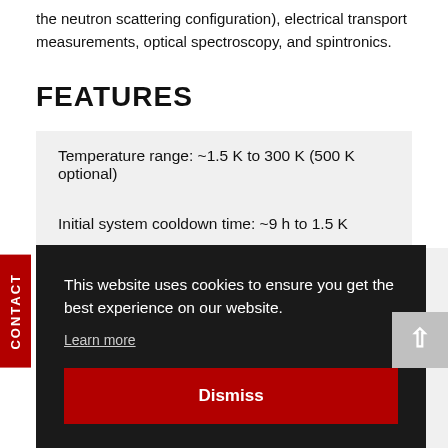the neutron scattering configuration), electrical transport measurements, optical spectroscopy, and spintronics.
FEATURES
Temperature range: ~1.5 K to 300 K (500 K optional)
Initial system cooldown time: ~9 h to 1.5 K
This website uses cookies to ensure you get the best experience on our website.
Learn more
Dismiss
CONTACT